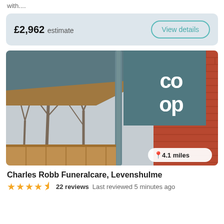with....
£2,962 estimate
View details
[Figure (photo): Exterior photo of Co-op Funeralcare building showing teal/grey facade with Co-op logo, brick wall on right side, bare winter trees on the left, wooden fence at bottom, and a distance badge showing 4.1 miles]
4.1 miles
Charles Robb Funeralcare, Levenshulme
22 reviews   Last reviewed 5 minutes ago